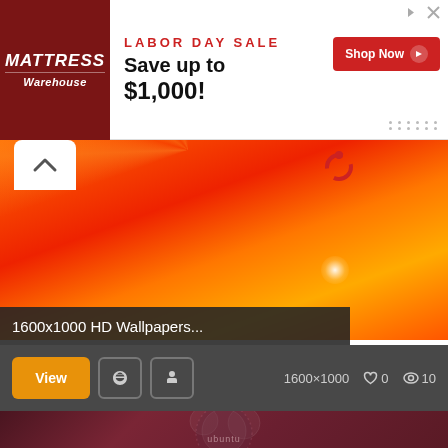[Figure (screenshot): Mattress Warehouse Labor Day Sale advertisement banner. Red logo on left, 'LABOR DAY SALE / Save up to $1,000!' text in center, red Shop Now button on right with decorative dots.]
[Figure (photo): Orange and red gradient wallpaper with light rays emanating from upper center, Ubuntu swirl logo visible at top, lens flare effect. Labeled '1600x1000 HD Wallpapers...' with controls bar showing View button, Pinterest and Facebook icons, dimensions 1600x1000, 0 likes, 10 views.]
[Figure (photo): Ubuntu wallpaper with dark purple/maroon gradient background, bokeh circles in center, Ubuntu text label at bottom center.]